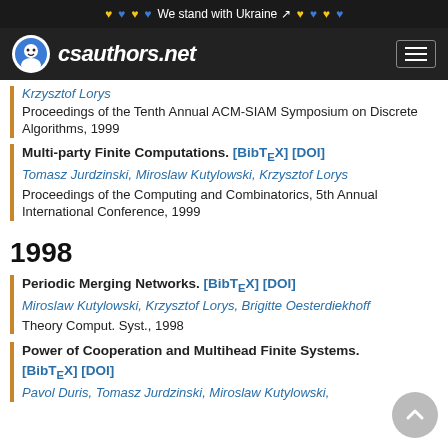We stand with Ukraine
csauthors.net
Krzysztof Lorys
Proceedings of the Tenth Annual ACM-SIAM Symposium on Discrete Algorithms, 1999
Multi-party Finite Computations. [BibTeX] [DOI]
Tomasz Jurdzinski, Miroslaw Kutylowski, Krzysztof Lorys
Proceedings of the Computing and Combinatorics, 5th Annual International Conference, 1999
1998
Periodic Merging Networks. [BibTeX] [DOI]
Miroslaw Kutylowski, Krzysztof Lorys, Brigitte Oesterdiekhoff
Theory Comput. Syst., 1998
Power of Cooperation and Multihead Finite Systems. [BibTeX] [DOI]
Pavol Duris, Tomasz Jurdzinski, Miroslaw Kutylowski,